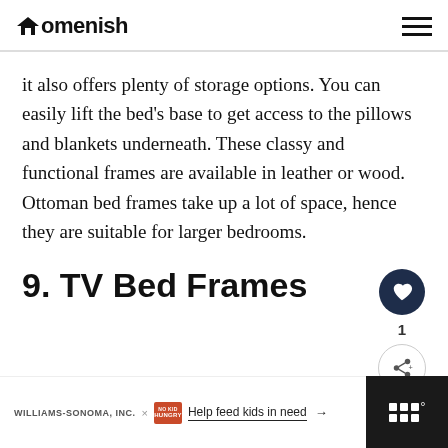Homenish
it also offers plenty of storage options. You can easily lift the bed's base to get access to the pillows and blankets underneath. These classy and functional frames are available in leather or wood. Ottoman bed frames take up a lot of space, hence they are suitable for larger bedrooms.
9. TV Bed Frames
A TV bed frame has prominent head and foot boards that are typically upholstered and soft
WILLIAMS-SONOMA, INC. × NO KID HUNGRY Help feed kids in need →